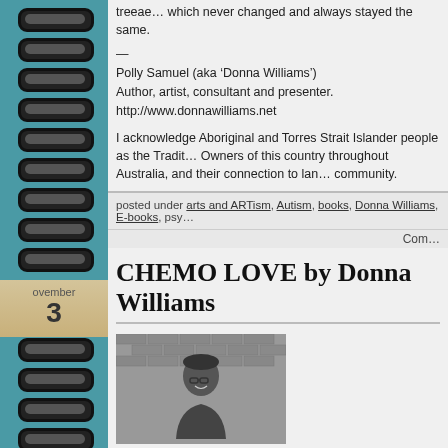treeae… which never changed and always stayed the same.
—
Polly Samuel (aka ‘Donna Williams’)
Author, artist, consultant and presenter.
http://www.donnawilliams.net
I acknowledge Aboriginal and Torres Strait Islander people as the Traditional Owners of this country throughout Australia, and their connection to land and community.
posted under arts and ARTism, Autism, books, Donna Williams, E-books, psy...
Com...
CHEMO LOVE by Donna Williams
[Figure (photo): Black and white photo of a person with glasses smiling in front of a brick wall]
November 3